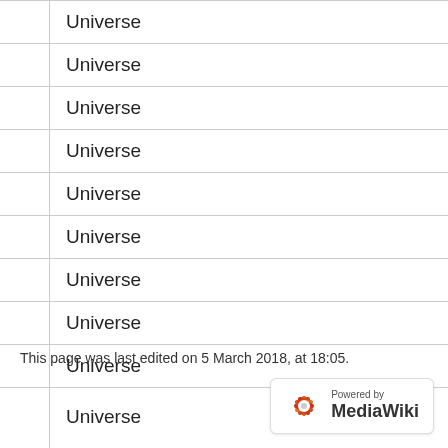|  |  |  |
| --- | --- | --- |
| cilmo | moist | Universe |
| denmi | dense | Universe |
| jdari | firm | Universe |
| pruni | elastic | Universe |
| trati | taut | Universe |
| glare | hot | Universe |
| kelvo | kelvin | Universe |
| lenku | cold | Universe |
| mucti | immaterial | Universe |
| jelca | burn | Universe |
This page was last edited on 5 March 2018, at 18:05.